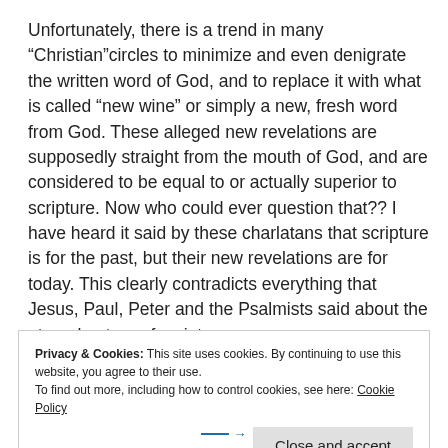Unfortunately, there is a trend in many “Christian”circles to minimize and even denigrate the written word of God, and to replace it with what is called “new wine” or simply a new, fresh word from God. These alleged new revelations are supposedly straight from the mouth of God, and are considered to be equal to or actually superior to scripture. Now who could ever question that?? I have heard it said by these charlatans that scripture is for the past, but their new revelations are for today. This clearly contradicts everything that Jesus, Paul, Peter and the Psalmists said about the eternal nature of scripture.
Privacy & Cookies: This site uses cookies. By continuing to use this website, you agree to their use. To find out more, including how to control cookies, see here: Cookie Policy
Close and accept